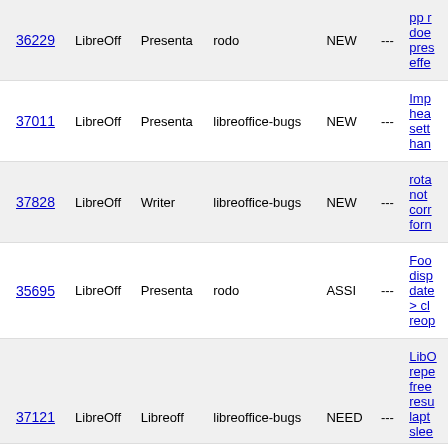| ID | Product | Component | AssignedTo | Status | Resolution | Summary |
| --- | --- | --- | --- | --- | --- | --- |
| 36229 | LibreOff | Presenta | rodo | NEW | --- | pp r doe pres effe |
| 37011 | LibreOff | Presenta | libreoffice-bugs | NEW | --- | Imp hea sett han |
| 37828 | LibreOff | Writer | libreoffice-bugs | NEW | --- | rota not corr forn |
| 35695 | LibreOff | Presenta | rodo | ASSI | --- | Foo disp date > cl reop |
| 37121 | LibreOff | Libreoff | libreoffice-bugs | NEED | --- | LibO repe free resu lapt slee |
13 bugs found.
Long Format XML csv RSS Calendar Change Columns